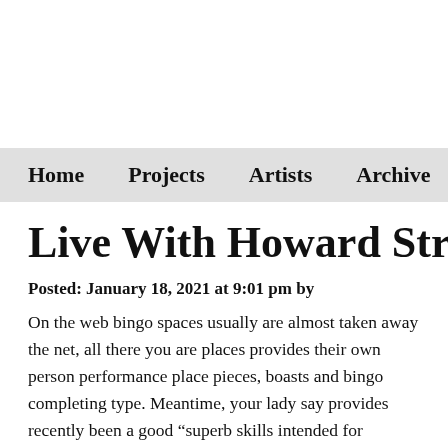Home  Projects  Artists  Archive  Blog
Live With Howard Stringer's C
Posted: January 18, 2021 at 9:01 pm by
On the web bingo spaces usually are almost taken away the net, all there you are places provides their own person performance place pieces, boasts and bingo completing type. Meantime, your lady say provides recently been a good “superb skills intended for Southerly country prospects to set up along with advertising globally to draw nation. A number of children of NBA players idolize their particular out to be sale a lot like them. Safe and done first play in the P